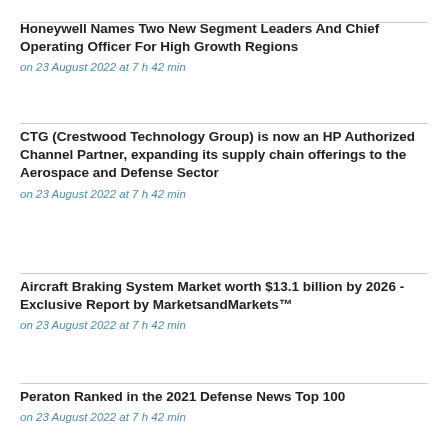Honeywell Names Two New Segment Leaders And Chief Operating Officer For High Growth Regions
on 23 August 2022 at 7 h 42 min
CTG (Crestwood Technology Group) is now an HP Authorized Channel Partner, expanding its supply chain offerings to the Aerospace and Defense Sector
on 23 August 2022 at 7 h 42 min
Aircraft Braking System Market worth $13.1 billion by 2026 - Exclusive Report by MarketsandMarkets™
on 23 August 2022 at 7 h 42 min
Peraton Ranked in the 2021 Defense News Top 100
on 23 August 2022 at 7 h 42 min